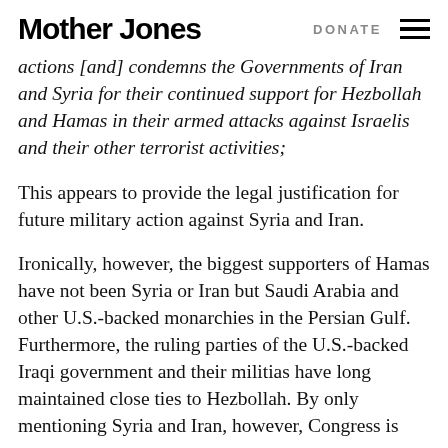Mother Jones | DONATE
actions [and] condemns the Governments of Iran and Syria for their continued support for Hezbollah and Hamas in their armed attacks against Israelis and their other terrorist activities;
This appears to provide the legal justification for future military action against Syria and Iran.
Ironically, however, the biggest supporters of Hamas have not been Syria or Iran but Saudi Arabia and other U.S.-backed monarchies in the Persian Gulf. Furthermore, the ruling parties of the U.S.-backed Iraqi government and their militias have long maintained close ties to Hezbollah. By only mentioning Syria and Iran, however, Congress is